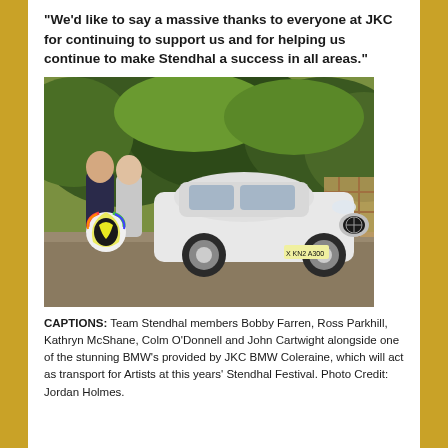“We’d like to say a massive thanks to everyone at JKC for continuing to support us and for helping us continue to make Stendhal a success in all areas.”
[Figure (photo): Two men standing next to a white BMW car outdoors on gravel. One man in a suit, one in casual wear. One holds a colorful Stendhal Festival logo sign. Trees visible in background.]
CAPTIONS: Team Stendhal members Bobby Farren, Ross Parkhill, Kathryn McShane, Colm O’Donnell and John Cartwight alongside one of the stunning BMW’s provided by JKC BMW Coleraine, which will act as transport for Artists at this years’ Stendhal Festival. Photo Credit: Jordan Holmes.